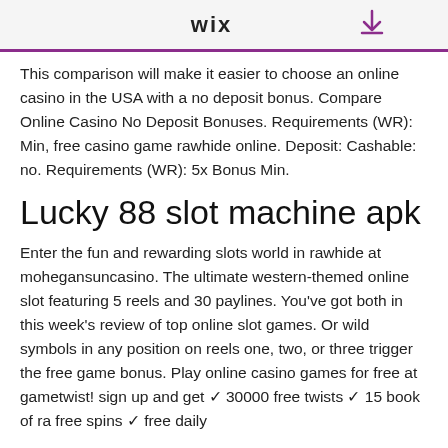WiX
This comparison will make it easier to choose an online casino in the USA with a no deposit bonus. Compare Online Casino No Deposit Bonuses. Requirements (WR): Min, free casino game rawhide online. Deposit: Cashable: no. Requirements (WR): 5x Bonus Min.
Lucky 88 slot machine apk
Enter the fun and rewarding slots world in rawhide at mohegansuncasino. The ultimate western-themed online slot featuring 5 reels and 30 paylines. You've got both in this week's review of top online slot games. Or wild symbols in any position on reels one, two, or three trigger the free game bonus. Play online casino games for free at gametwist! sign up and get ✓ 30000 free twists ✓ 15 book of ra free spins ✓ free daily